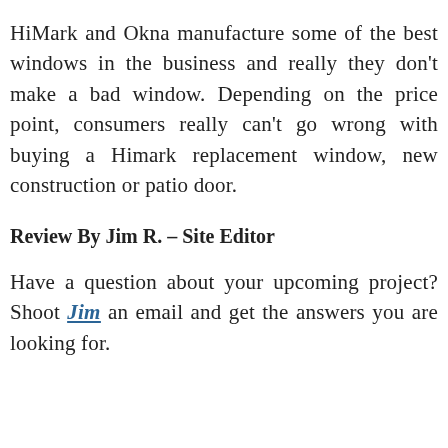HiMark and Okna manufacture some of the best windows in the business and really they don't make a bad window. Depending on the price point, consumers really can't go wrong with buying a Himark replacement window, new construction or patio door.
Review By Jim R. – Site Editor
Have a question about your upcoming project? Shoot Jim an email and get the answers you are looking for.